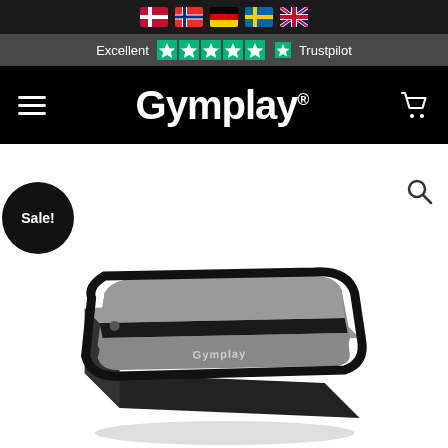[Figure (screenshot): Top navigation bar with country flags (Denmark, Norway, Germany, Sweden, UK)]
[Figure (screenshot): Trustpilot excellent rating bar with green stars]
Gymplay®
[Figure (screenshot): Sale badge circle with text 'Sale!']
[Figure (photo): Gymplay branded portable device/power bank, grey and black rectangular rounded shape, angled view showing Gymplay branding on front]